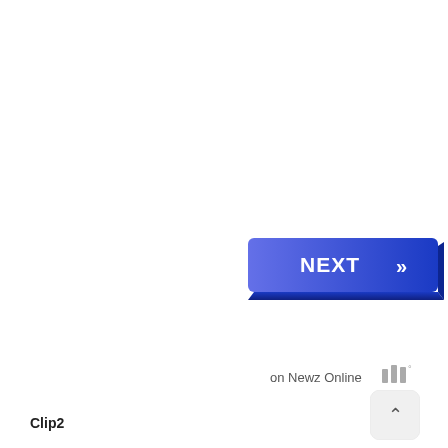[Figure (screenshot): A blue gradient NEXT button with double chevron (>>) icon on the right, rendered with a 3D perspective effect. The button has rounded corners and a blue-to-darker-blue gradient.]
on Newz Online
[Figure (logo): Newz Online logo mark - three vertical bars with a degree symbol]
[Figure (screenshot): A rounded square button with a caret/chevron up arrow (^) in gray on white background]
Clip2